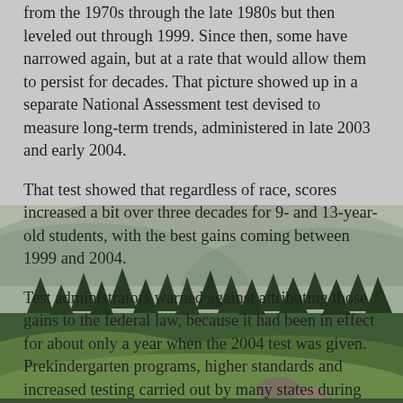from the 1970s through the late 1980s but then leveled out through 1999. Since then, some have narrowed again, but at a rate that would allow them to persist for decades. That picture showed up in a separate National Assessment test devised to measure long-term trends, administered in late 2003 and early 2004.
That test showed that regardless of race, scores increased a bit over three decades for 9- and 13-year-old students, with the best gains coming between 1999 and 2004.
Test administrators warned against attributing those gains to the federal law, because it had been in effect for about only a year when the 2004 test was given. Prekindergarten programs, higher standards and increased testing carried out by many states during the 1990s also contributed, they said.
But Bush administration officials have routinely credited the law for the improved scores on that test.
A group that has supported the federal law — Thomas B. Fordham Foundation, whose leaders include former officials
[Figure (photo): A blurred nature landscape photograph showing green rolling hills with trees (likely pine/fir), misty mountains in the background, and overcast grey sky. The image appears in the lower portion of the page, blending with the text overlay.]